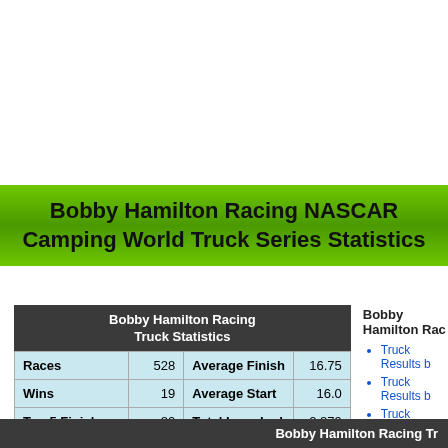Bobby Hamilton Racing NASCAR Camping World Truck Series Statistics
|  |  |  |  |
| --- | --- | --- | --- |
| Races | 528 | Average Finish | 16.75 |
| Wins | 19 | Average Start | 16.0 |
| Top 5 Finishes | 80 | Total Laps Led | 2,879 |
| Top 10 Finishes | 163 | Total Laps | 82,779 |
Click on a heading to sort by that column
Bobby Hamilton Rac
Truck Results b
Truck Results b
Truck Results b
Truck Stats: Se
Bobby Hamilton Racing Tr